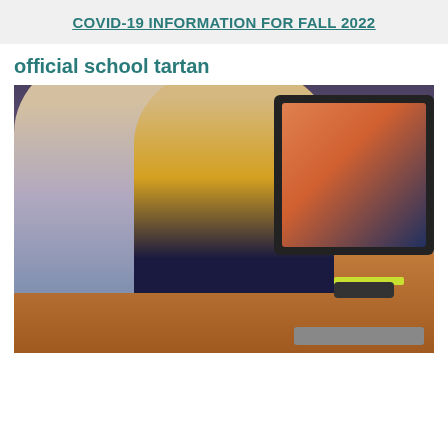COVID-19 INFORMATION FOR FALL 2022
official school tartan
[Figure (photo): Two people wearing face masks looking at a computer screen together in a classroom setting. The person on the left wears glasses, a blue shirt, and a yellow mask. The person in the center wears a yellow cardigan, dark top, and a pink mask. An iMac computer monitor is visible on the right displaying a colorful screen. Items on the desk include a phone, highlighter, and a laptop. Red chairs and a whiteboard are visible in the background.]